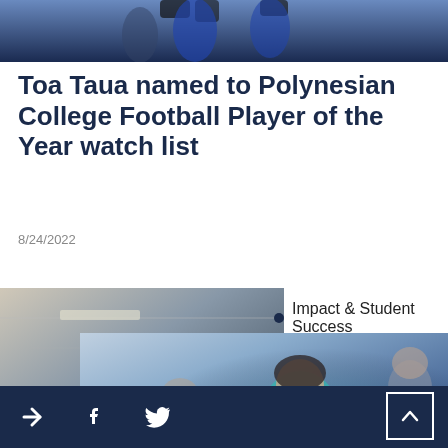[Figure (photo): Top cropped photo of a person in a blue jersey on a football field]
Toa Taua named to Polynesian College Football Player of the Year watch list
8/24/2022
[Figure (photo): Classroom scene with students sitting at desks]
Impact & Student Success
[Figure (photo): Students in a lounge area, smiling young woman in teal hoodie in foreground]
> f Twitter share icons and scroll-to-top button